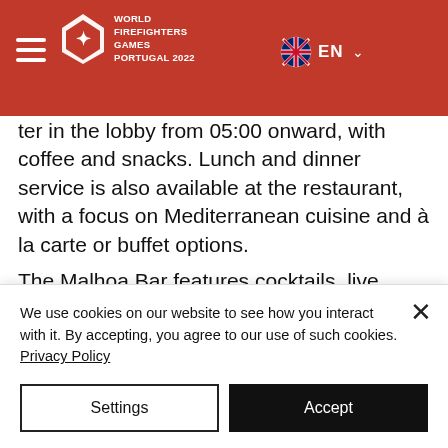World Firefighters Games Portugal 2022 — EN
y ter in the lobby from 05:00 onward, with coffee and snacks. Lunch and dinner service is also available at the restaurant, with a focus on Mediterranean cuisine and à la carte or buffet options. The Malhoa Bar features cocktails, live piano music on select nights and also has a big screen TV, broadcasting football and other sports. An express laundry service is available, upon request and at an extra fee. The fitness center is available to all...
We use cookies on our website to see how you interact with it. By accepting, you agree to our use of such cookies. Privacy Policy
Settings
Accept